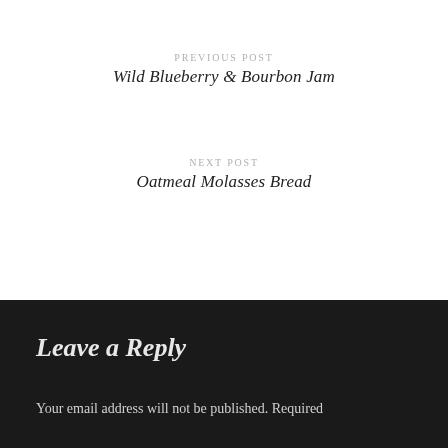PREVIOUS POST
Wild Blueberry & Bourbon Jam
NEXT POST
Oatmeal Molasses Bread
Leave a Reply
Your email address will not be published. Required